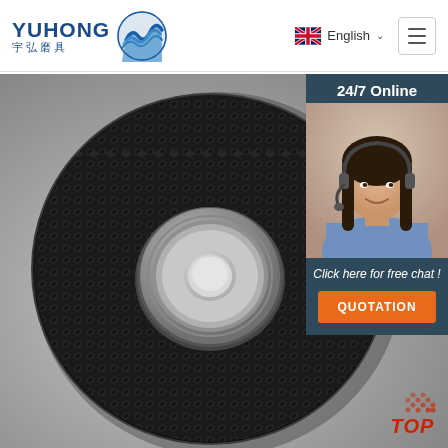YUHONG 宇弘磨具 | English
[Figure (photo): Close-up photo of a black textured grinding/abrasive disc with a central metal hub, shown at an angle on a light background]
[Figure (photo): Customer service agent (woman with headset) with '24/7 Online' banner, 'Click here for free chat!' text, and orange QUOTATION button overlay on right side]
24/7 Online
Click here for free chat !
QUOTATION
TOP